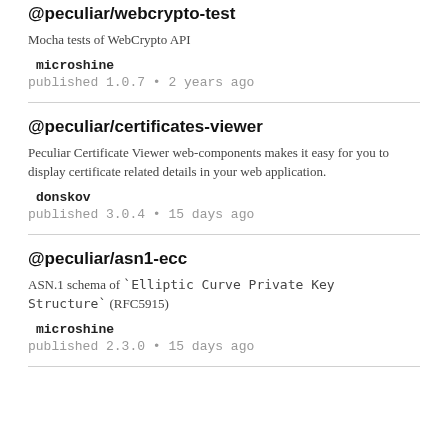@peculiar/webcrypto-test
Mocha tests of WebCrypto API
microshine
published 1.0.7 • 2 years ago
@peculiar/certificates-viewer
Peculiar Certificate Viewer web-components makes it easy for you to display certificate related details in your web application.
donskov
published 3.0.4 • 15 days ago
@peculiar/asn1-ecc
ASN.1 schema of `Elliptic Curve Private Key Structure` (RFC5915)
microshine
published 2.3.0 • 15 days ago